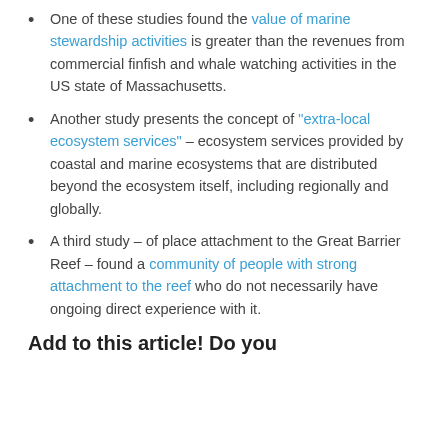One of these studies found the value of marine stewardship activities is greater than the revenues from commercial finfish and whale watching activities in the US state of Massachusetts.
Another study presents the concept of "extra-local ecosystem services" – ecosystem services provided by coastal and marine ecosystems that are distributed beyond the ecosystem itself, including regionally and globally.
A third study – of place attachment to the Great Barrier Reef – found a community of people with strong attachment to the reef who do not necessarily have ongoing direct experience with it.
Add to this article! Do you